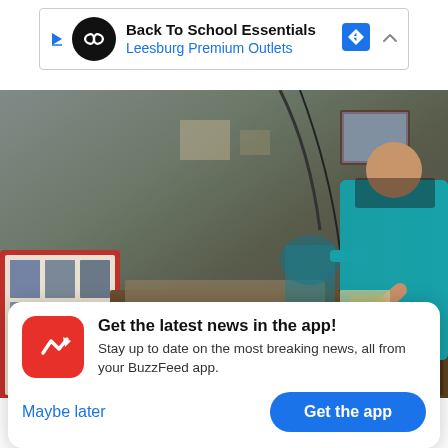[Figure (screenshot): Ad banner for Back To School Essentials at Leesburg Premium Outlets with navigation icon and collapse arrow]
[Figure (photo): Scene of Wednesday's suicide attack inside a damaged building; a person in a teal jacket stands near overturned furniture and debris; portraits on a board visible on the left]
The scene of Wednesday's suicide attack that killed four Americans
[Figure (screenshot): BuzzFeed app promotional popup with red BuzzFeed icon; text 'Get the latest news in the app! Stay up to date on the most breaking news, all from your BuzzFeed app.' with 'Maybe later' and 'Get the app' buttons]